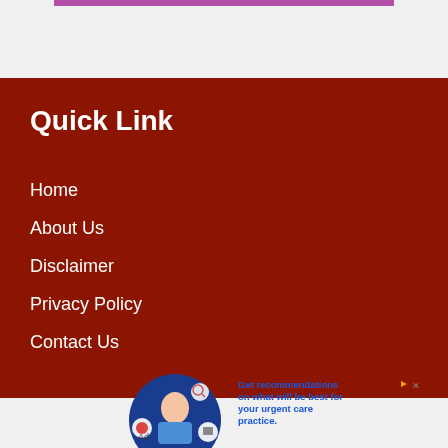Quick Link
Home
About Us
Disclaimer
Privacy Policy
Contact Us
[Figure (photo): Advertisement banner with a nurse/doctor illustration on a dark blue circular background and icons for medical services. Text reads: Get recommendations on what will be best for your urgent care practice.]
Ad